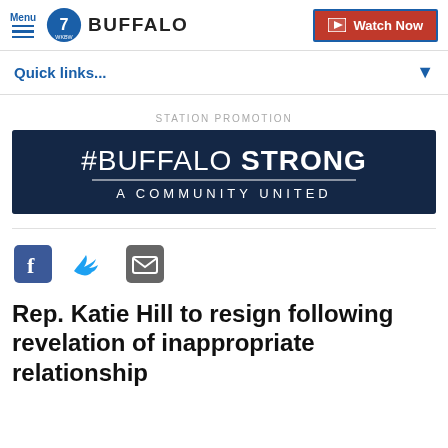Menu | 7 WKBW BUFFALO | Watch Now
Quick links...
STATION PROMOTION
[Figure (illustration): #BUFFALO STRONG A COMMUNITY UNITED banner image with dark blue background and crowd silhouette]
[Figure (infographic): Social share icons: Facebook, Twitter, Email]
Rep. Katie Hill to resign following revelation of inappropriate relationship